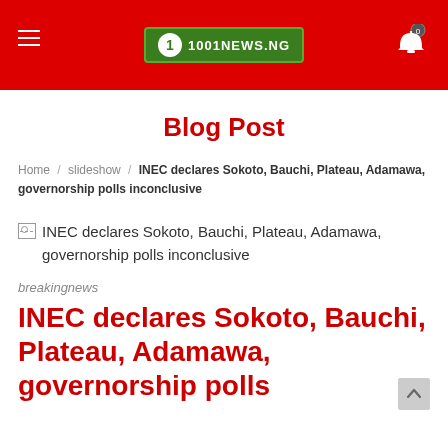[Figure (logo): 1001NEWS.NG logo on red header bar with hamburger menu and notification bell]
Blog Post
Home / slideshow / INEC declares Sokoto, Bauchi, Plateau, Adamawa, governorship polls inconclusive
[Figure (photo): Broken image placeholder for INEC declares Sokoto, Bauchi, Plateau, Adamawa, governorship polls inconclusive]
breakingnews
INEC declares Sokoto, Bauchi, Plateau, Adamawa, governorship polls